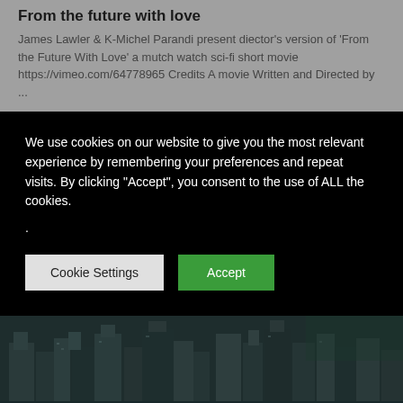From the future with love
James Lawler & K-Michel Parandi present diector's version of 'From the Future With Love' a mutch watch sci-fi short movie https://vimeo.com/64778965 Credits A movie Written and Directed by ...
We use cookies on our website to give you the most relevant experience by remembering your preferences and repeat visits. By clicking "Accept", you consent to the use of ALL the cookies.
.
[Figure (screenshot): Cookie Settings and Accept buttons on dark background]
[Figure (photo): Aerial view of dark futuristic cityscape with buildings]
Beyond
Beyond tells the story of Arya, the last remaining member of her family, a lineage with a unique genetic code that grants